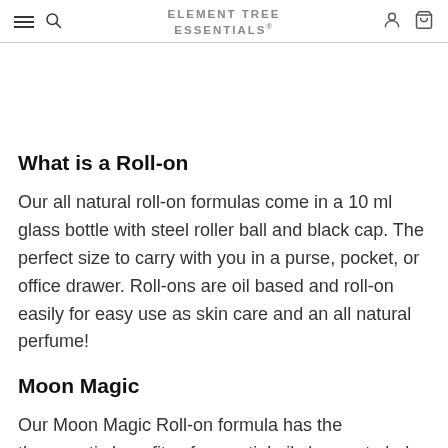ELEMENT TREE ESSENTIALS®
What is a Roll-on
Our all natural roll-on formulas come in a 10 ml glass bottle with steel roller ball and black cap. The perfect size to carry with you in a purse, pocket, or office drawer. Roll-ons are oil based and roll-on easily for easy use as skin care and an all natural perfume!
Moon Magic
Our Moon Magic Roll-on formula has the therapeutic benefits of essential oils known to help with grounding